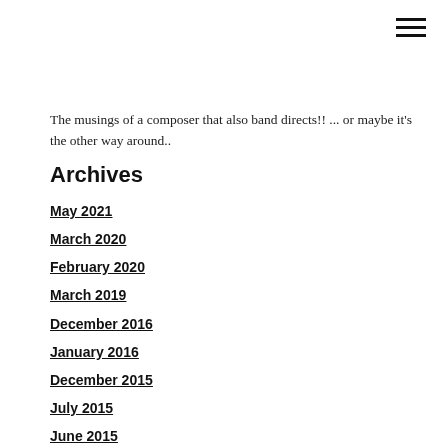The musings of a composer that also band directs!! ... or maybe it's the other way around..
Archives
May 2021
March 2020
February 2020
March 2019
December 2016
January 2016
December 2015
July 2015
June 2015
April 2015
February 2015
December 2014
September 2014